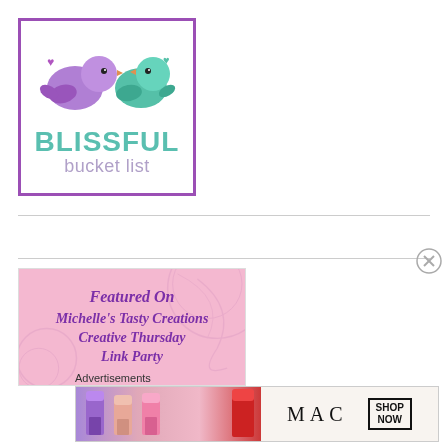[Figure (logo): Blissful Bucket List logo with two cartoon birds (purple and teal) and text 'BLISSFUL bucket list' inside a purple border box]
[Figure (illustration): Featured On Michelle's Tasty Creations Creative Thursday Link Party badge on pink swirl background]
Advertisements
[Figure (illustration): MAC cosmetics advertisement banner showing lipsticks in purple, peach, pink and red colors with MAC logo and SHOP NOW button]